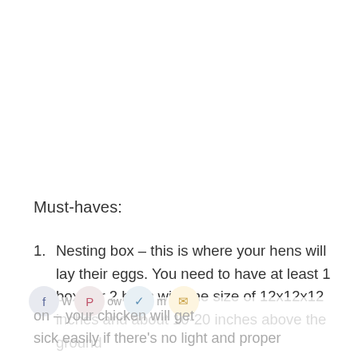Must-haves:
Nesting box – this is where your hens will lay their eggs. You need to have at least 1 box per 2 hens with the size of 12x12x12 inches and about 10-20 inches above the ground
on – your chicken will get sick easily if there's no light and proper